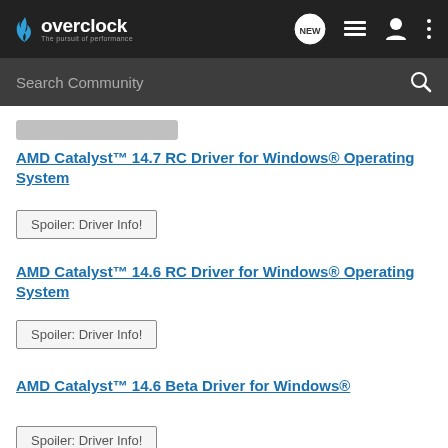overclock — The pursuit of performance
Search Community
AMD Catalyst™ 14.7 RC Driver for Windows® Operating System
Spoiler: Driver Info!
AMD Catalyst™ 14.6 RC Driver for Windows® Operating System
Spoiler: Driver Info!
AMD Catalyst™ 14.6 Beta Driver for Windows®
Spoiler: Driver Info!